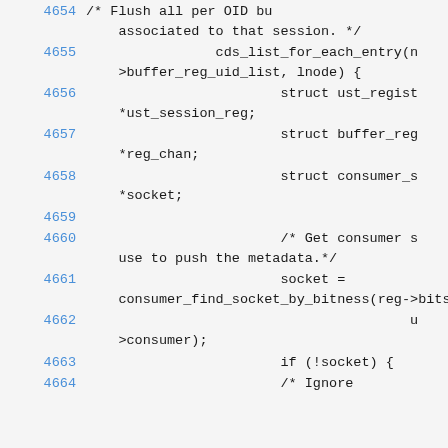4654    /* Flush all per OID bu
    associated to that session. */
4655                    cds_list_for_each_entry(n
    >buffer_reg_uid_list, lnode) {
4656                            struct ust_regist
    *ust_session_reg;
4657                            struct buffer_reg
    *reg_chan;
4658                            struct consumer_s
    *socket;
4659
4660                            /* Get consumer s
    use to push the metadata.*/
4661                            socket =
    consumer_find_socket_by_bitness(reg->bits
4662                                            u
    >consumer);
4663                            if (!socket) {
4664                            /* Ignore